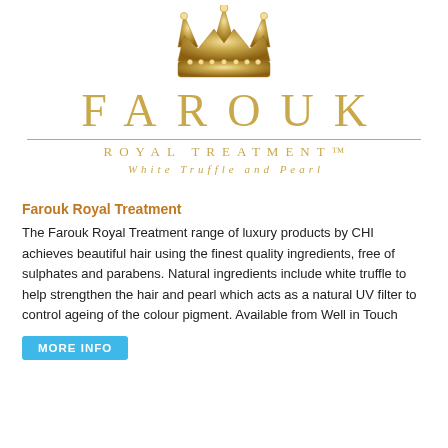[Figure (logo): Gold decorative crown illustration centered at top of page]
FAROUK
ROYAL TREATMENT™
White Truffle and Pearl
Farouk Royal Treatment
The Farouk Royal Treatment range of luxury products by CHI achieves beautiful hair using the finest quality ingredients, free of sulphates and parabens. Natural ingredients include white truffle to help strengthen the hair and pearl which acts as a natural UV filter to control ageing of the colour pigment. Available from Well in Touch
MORE INFO